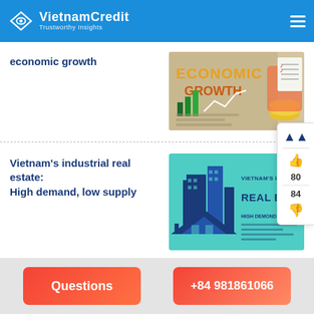VietnamCredit — Trustworthy Insights
economic growth
[Figure (illustration): Economic Growth thumbnail image with text 'ECONOMIC GROWTH' and coins/chart graphics]
Vietnam's industrial real estate: High demand, low supply
[Figure (illustration): Vietnam's Industrial Real Estate: High Demand, Low Supply — teal background with blue building silhouettes]
Questions | +84 981861066